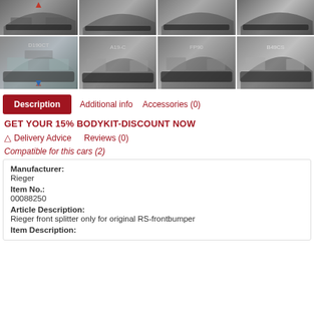[Figure (photo): Grid of 8 car product photos showing front splitter from various angles on dark gray Skoda with RS frontbumper. Top row has red upward arrow on first image. Bottom row second image has red upward arrow and blue downward arrow.]
Description  Additional info  Accessories (0)
GET YOUR 15% BODYKIT-DISCOUNT NOW
⚠ Delivery Advice   Reviews (0)
Compatible for this cars (2)
| Manufacturer: | Rieger |
| Item No.: | 00088250 |
| Article Description: | Rieger front splitter only for original RS-frontbumper |
| Item Description: |  |